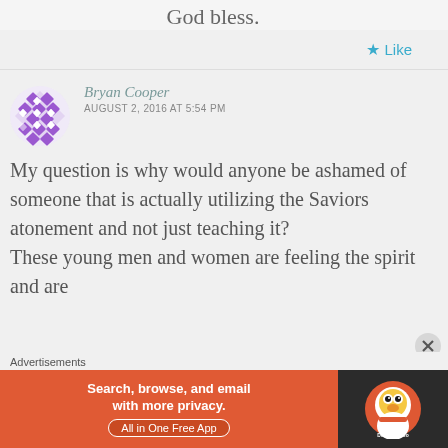God bless.
★ Like
Bryan Cooper
AUGUST 2, 2016 AT 5:54 PM
My question is why would anyone be ashamed of someone that is actually utilizing the Saviors atonement and not just teaching it?
These young men and women are feeling the spirit and are
Advertisements
Search, browse, and email with more privacy. All in One Free App